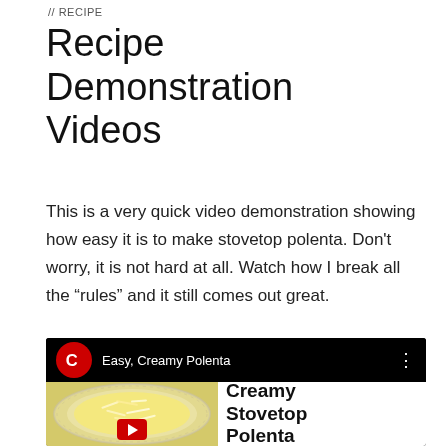// RECIPE
Recipe Demonstration Videos
This is a very quick video demonstration showing how easy it is to make stovetop polenta. Don't worry, it is not hard at all. Watch how I break all the “rules” and it still comes out great.
[Figure (screenshot): YouTube video widget showing 'Easy, Creamy Polenta' channel with a thumbnail of creamy polenta in a bowl and side text reading 'Creamy Stovetop Polenta']